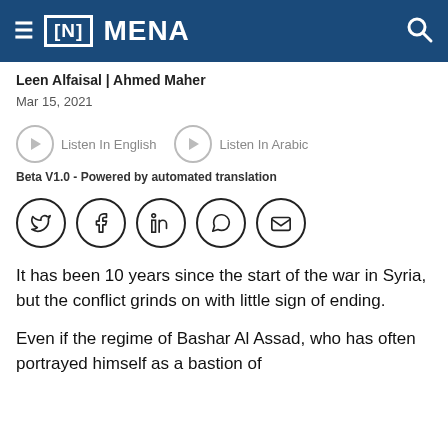[N] MENA
Leen Alfaisal | Ahmed Maher
Mar 15, 2021
[Figure (other): Audio player buttons: Listen In English and Listen In Arabic with play icons]
Beta V1.0 - Powered by automated translation
[Figure (other): Social media sharing icons: Twitter, Facebook, LinkedIn, WhatsApp, Email]
It has been 10 years since the start of the war in Syria, but the conflict grinds on with little sign of ending.
Even if the regime of Bashar Al Assad, who has often portrayed himself as a bastion of resistance against the imperialist West...